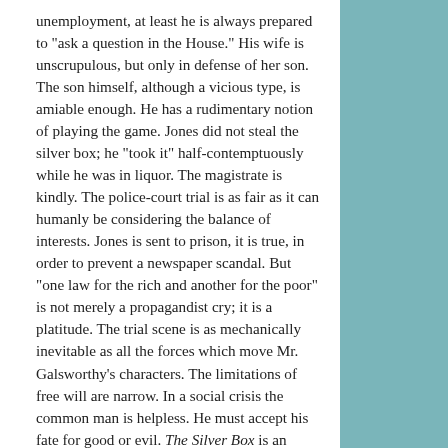unemployment, at least he is always prepared to "ask a question in the House." His wife is unscrupulous, but only in defense of her son. The son himself, although a vicious type, is amiable enough. He has a rudimentary notion of playing the game. Jones did not steal the silver box; he "took it" half-contemptuously while he was in liquor. The magistrate is kindly. The police-court trial is as fair as it can humanly be considering the balance of interests. Jones is sent to prison, it is true, in order to prevent a newspaper scandal. But "one law for the rich and another for the poor" is not merely a propagandist cry; it is a platitude. The trial scene is as mechanically inevitable as all the forces which move Mr. Galsworthy's characters. The limitations of free will are narrow. In a social crisis the common man is helpless. He must accept his fate for good or evil. The Silver Box is an indictment of society, although not one of its characters would accept it as such. It is more than an indictment--a complete trial, in which Mr. Galsworthy appears both for the prosecution and the defense.
In Joy he failed because the subject did not suit